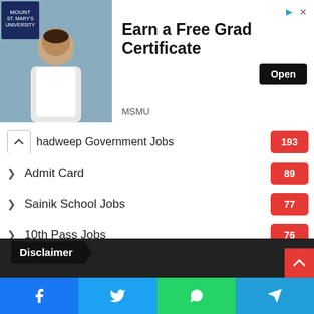[Figure (screenshot): Advertisement banner for Mount St. Mary's University — 'Earn a Free Grad Certificate' with Open button and MSMU label. Features a photo of a man in a white coat.]
hadweep Government Jobs  193
Admit Card  89
Sainik School Jobs  77
10th Pass Jobs  76
Results  20
Time Table  5
Disclaimer
[Figure (screenshot): Social media share bar with Facebook, Twitter, WhatsApp, and Telegram buttons]